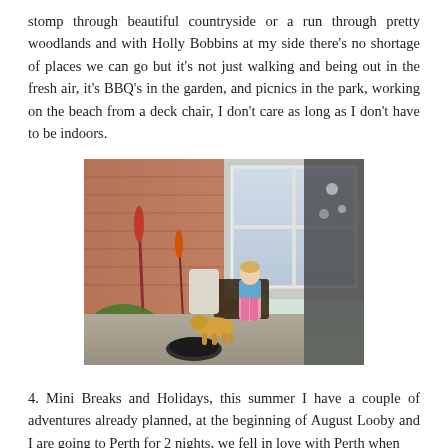stomp through beautiful countryside or a run through pretty woodlands and with Holly Bobbins at my side there's no shortage of places we can go but it's not just walking and being out in the fresh air, it's BBQ's in the garden, and picnics in the park, working on the beach from a deck chair, I don't care as long as I don't have to be indoors.
[Figure (photo): A young girl sitting in a garden patio area with a dog looking up at her. There is outdoor furniture, a brick wall, window, and plants including red flowers. The scene is sunny.]
4. Mini Breaks and Holidays, this summer I have a couple of adventures already planned, at the beginning of August Looby and I are going to Perth for 2 nights, we fell in love with Perth when we visited a couple of years ago. I adore especially, how the th...